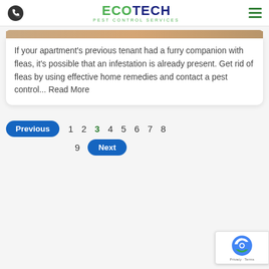ECOTECH PEST CONTROL SERVICES
If your apartment's previous tenant had a furry companion with fleas, it's possible that an infestation is already present. Get rid of fleas by using effective home remedies and contact a pest control... Read More
Previous 1 2 3 4 5 6 7 8 9 Next